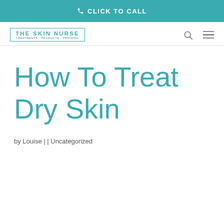CLICK TO CALL
[Figure (logo): The Skin Nurse logo with teal border box, text 'THE SKIN NURSE' and subtitle 'TREATMENTS · PRODUCTS · TRAINING']
How To Treat Dry Skin
by Louise | | Uncategorized